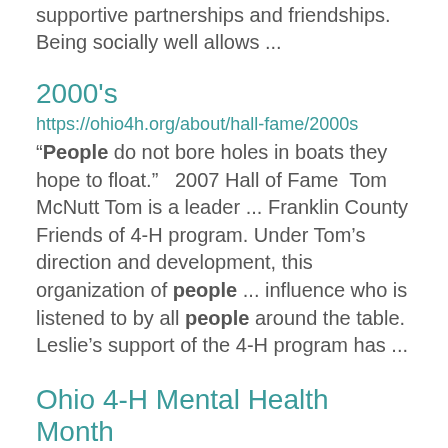supportive partnerships and friendships. Being socially well allows ...
2000's
https://ohio4h.org/about/hall-fame/2000s
“People do not bore holes in boats they hope to float.”  2007 Hall of Fame Tom McNutt Tom is a leader ... Franklin County Friends of 4-H program. Under Tom’s direction and development, this organization of people ... influence who is listened to by all people around the table. Leslie’s support of the 4-H program has ...
Ohio 4-H Mental Health Month